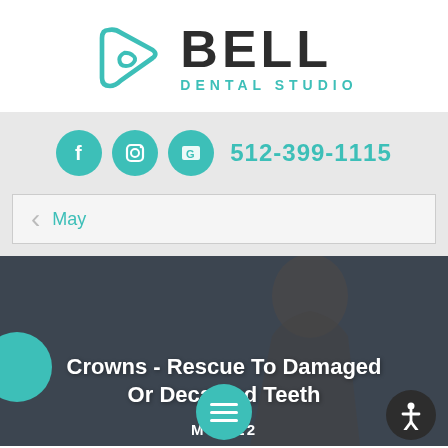[Figure (logo): Bell Dental Studio logo with teal play-button-shaped icon and BELL DENTAL STUDIO text]
512-399-1115
May
[Figure (photo): Dark background with woman, overlaid with text 'Crowns - Rescue To Damaged Or Decayed Teeth']
Crowns - Rescue To Damaged Or Decayed Teeth
May 22